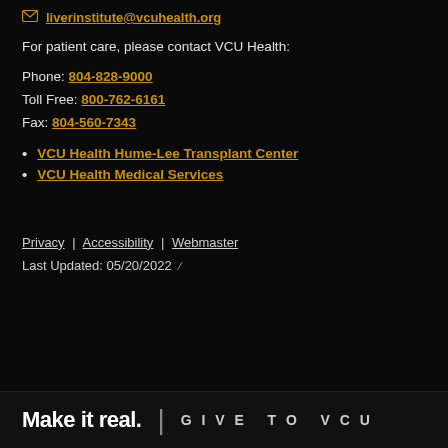liverinstitute@vcuhealth.org
For patient care, please contact VCU Health:
Phone: 804-828-9000
Toll Free: 800-762-6161
Fax: 804-560-7343
VCU Health Hume-Lee Transplant Center
VCU Health Medical Services
Privacy | Accessibility | Webmaster
Last Updated: 05/20/2022
Make it real. | GIVE TO VCU